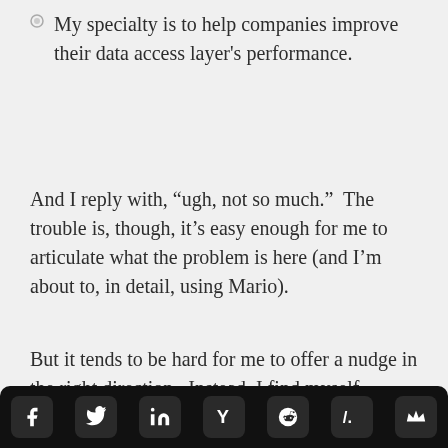My specialty is to help companies improve their data access layer's performance.
And I reply with, “ugh, not so much.”  The trouble is, though, it’s easy enough for me to articulate what the problem is here (and I’m about to, in detail, using Mario).
But it tends to be hard for me to offer a nudge in the right direction.  Instead, I find myself offering vague advice like “well, freelance for a while as a software pro and you’ll start to get better ideas.  Now, though, I think that I can deliver somewhat more helpful advice.
[Figure (infographic): Social sharing bar with icons for Facebook, Twitter, LinkedIn, Hacker News (Y), Reddit, Slashdot (/.), and a crown icon, all white on dark rounded square backgrounds, on a black bar.]